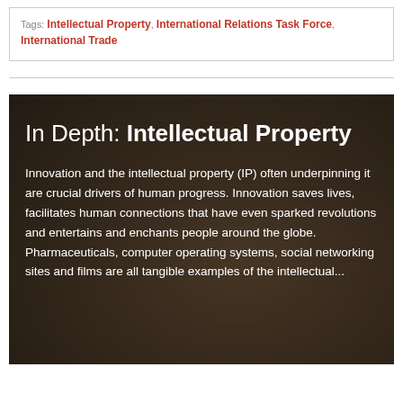Tags: Intellectual Property, International Relations Task Force, International Trade
[Figure (photo): Dark sepia-toned photograph of an open book with a magnifying glass resting on it, used as background for an 'In Depth: Intellectual Property' article banner.]
In Depth: Intellectual Property
Innovation and the intellectual property (IP) often underpinning it are crucial drivers of human progress. Innovation saves lives, facilitates human connections that have even sparked revolutions and entertains and enchants people around the globe. Pharmaceuticals, computer operating systems, social networking sites and films are all tangible examples of the intellectual...